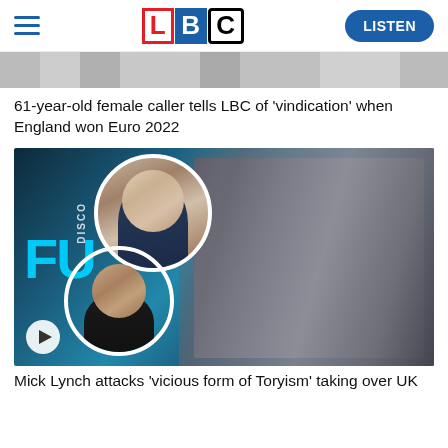LBC — LISTEN
[Figure (screenshot): Partial image strip of people in white clothing, cropped at top]
61-year-old female caller tells LBC of 'vindication' when England won Euro 2022
[Figure (screenshot): Video thumbnail: Mick Lynch on stage with circular inset portraits of Liz Truss and Rishi Sunak, FU and DISCO text visible on left, play button in bottom-left corner]
Mick Lynch attacks 'vicious form of Toryism' taking over UK